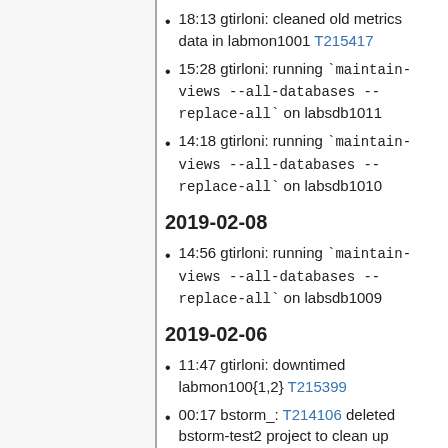18:13 gtirloni: cleaned old metrics data in labmon1001 T215417
15:28 gtirloni: running `maintain-views --all-databases --replace-all` on labsdb1011
14:18 gtirloni: running `maintain-views --all-databases --replace-all` on labsdb1010
2019-02-08
14:56 gtirloni: running `maintain-views --all-databases --replace-all` on labsdb1009
2019-02-06
11:47 gtirloni: downtimed labmon100{1,2} T215399
00:17 bstorm_: T214106 deleted bstorm-test2 project to clean up